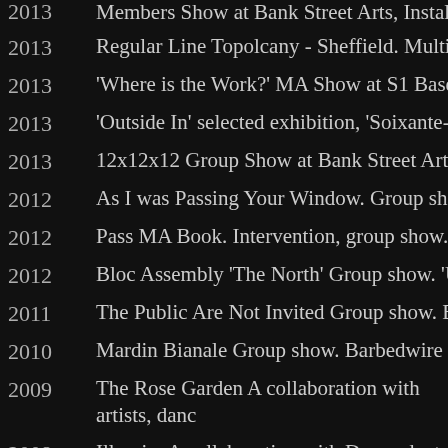2013 Members Show at Bank Street Arts, Installation, Sh...
2013 Regular Line Topolcany - Sheffield. Multimedia spa...
2013 'Where is the Work?' MA Show at S1 Basement, Sh...
2013 'Outside In' selected exhibition, 'Soixante-Neuf' wa...
2013 12x12x12 Group Show at Bank Street Arts, 'Harry'...
2012 As I was Passing Your Window. Group show. Hagg...
2012 Pass MA Book. Intervention, group show. The Scul...
2012 Bloc Assembly 'The North' Group show. 'Untitled' m...
2011 The Public Are Not Invited Group show. Barbedwi...
2010 Mardin Bianale Group show. Barbedwire wallpaper...
2009 The Rose Garden A collaboration with artists, dance... Installation.
2008 Illumin. A collaboration with Dance duet Rebecca ... Darts, Doncaster Arts venue in Rotherham as part o... Installation.